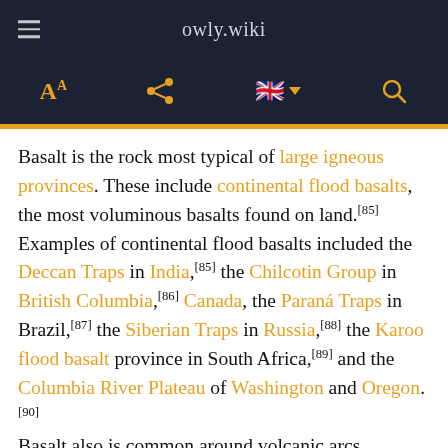owly.wiki
Basalt is the rock most typical of large igneous provinces. These include continental flood basalts, the most voluminous basalts found on land.[85] Examples of continental flood basalts included the Deccan Traps in India,[85] the Chilcotin Group in British Columbia,[86] Canada, the Paraná Traps in Brazil,[87] the Siberian Traps in Russia,[88] the Karoo flood basalt province in South Africa,[89] and the Columbia River Plateau of Washington and Oregon.[90]
Basalt also is common around volcanic arcs, specially those on thin crust.[91]